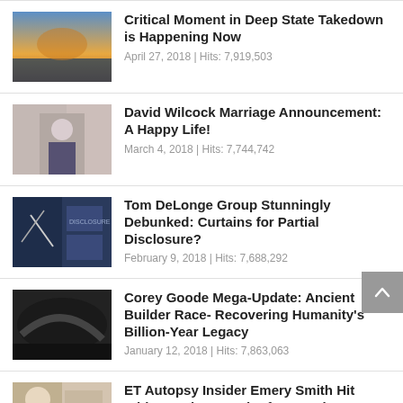Critical Moment in Deep State Takedown is Happening Now
April 27, 2018 | Hits: 7,919,503
David Wilcock Marriage Announcement: A Happy Life!
March 4, 2018 | Hits: 7,744,742
Tom DeLonge Group Stunningly Debunked: Curtains for Partial Disclosure?
February 9, 2018 | Hits: 7,688,292
Corey Goode Mega-Update: Ancient Builder Race- Recovering Humanity's Billion-Year Legacy
January 12, 2018 | Hits: 7,863,063
ET Autopsy Insider Emery Smith Hit With Massive Attack After Coming Forward